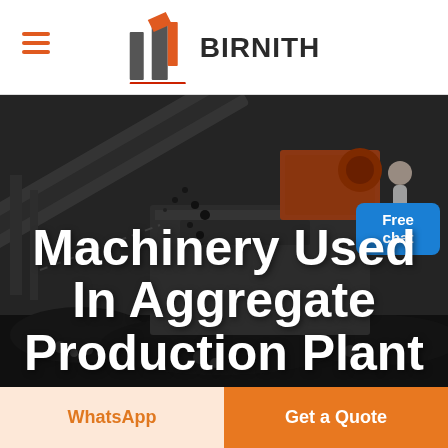[Figure (logo): BIRNITH company logo with orange building icon and brand name in dark bold text, hamburger menu icon on left]
[Figure (photo): Industrial aggregate crushing station machinery with conveyor belts and rock crushing equipment in dark tones, worker/person visible at top right]
Machinery Used In Aggregate Production Plant
Free chat
WhatsApp
Get a Quote